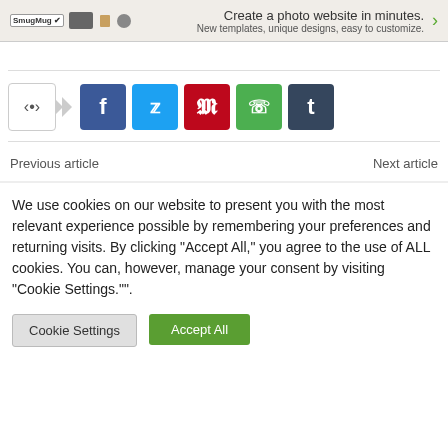[Figure (screenshot): SmugMug advertisement banner: 'Create a photo website in minutes. New templates, unique designs, easy to customize.' with a green arrow.]
[Figure (screenshot): Social share buttons row: share icon toggle, Facebook (f), Twitter (bird), Pinterest (p), WhatsApp (phone), Tumblr (t)]
Previous article
Next article
We use cookies on our website to present you with the most relevant experience possible by remembering your preferences and returning visits. By clicking "Accept All," you agree to the use of ALL cookies. You can, however, manage your consent by visiting "Cookie Settings."".
Cookie Settings
Accept All